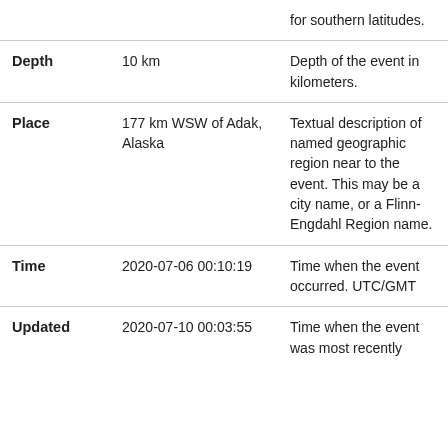| Field | Example Value | Description |
| --- | --- | --- |
|  |  | Negative values for southern latitudes. |
| Depth | 10 km | Depth of the event in kilometers. |
| Place | 177 km WSW of Adak, Alaska | Textual description of named geographic region near to the event. This may be a city name, or a Flinn-Engdahl Region name. |
| Time | 2020-07-06 00:10:19 | Time when the event occurred. UTC/GMT |
| Updated | 2020-07-10 00:03:55 | Time when the event was most recently... |